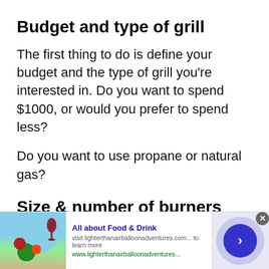Budget and type of grill
The first thing to do is define your budget and the type of grill you’re interested in. Do you want to spend $1000, or would you prefer to spend less?
Do you want to use propane or natural gas?
Size & number of burners
[Figure (other): Advertisement banner: All about Food & Drink, visit lighterthanairballoonadventures.com... to learn more, with food/drink image and navigation button]